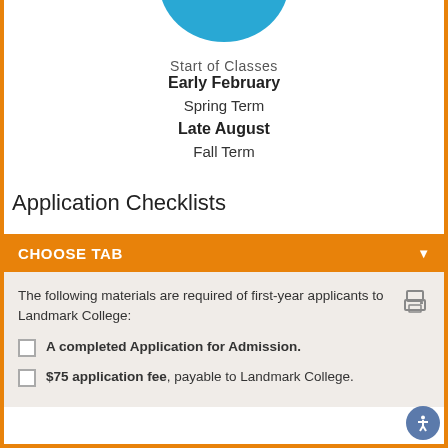[Figure (illustration): Partially visible blue circle/avatar at the top of the card]
Start of Classes
Early February
Spring Term
Late August
Fall Term
Application Checklists
CHOOSE TAB
The following materials are required of first-year applicants to Landmark College:
A completed Application for Admission.
$75 application fee, payable to Landmark College.